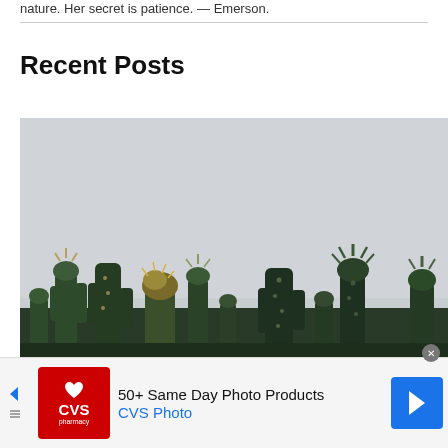nature. Her secret is patience. — Emerson.
Recent Posts
[Figure (photo): Photo of various cacti plants against a light grey overcast sky background, viewed from below looking up]
[Figure (other): Advertisement banner: CVS Pharmacy logo (red square with heart icon) and text '50+ Same Day Photo Products' and 'CVS Photo' in blue, with a blue navigation arrow on the right]